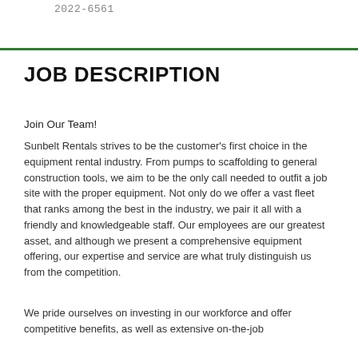2022-6561
JOB DESCRIPTION
Join Our Team!
Sunbelt Rentals strives to be the customer's first choice in the equipment rental industry. From pumps to scaffolding to general construction tools, we aim to be the only call needed to outfit a job site with the proper equipment. Not only do we offer a vast fleet that ranks among the best in the industry, we pair it all with a friendly and knowledgeable staff. Our employees are our greatest asset, and although we present a comprehensive equipment offering, our expertise and service are what truly distinguish us from the competition.
We pride ourselves on investing in our workforce and offer competitive benefits, as well as extensive on-the-job training for all positions.